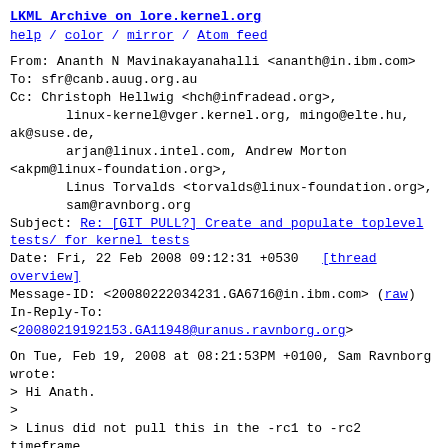LKML Archive on lore.kernel.org
help / color / mirror / Atom feed
From: Ananth N Mavinakayanahalli <ananth@in.ibm.com>
To: sfr@canb.auug.org.au
Cc: Christoph Hellwig <hch@infradead.org>,
        linux-kernel@vger.kernel.org, mingo@elte.hu,
ak@suse.de,
        arjan@linux.intel.com, Andrew Morton
<akpm@linux-foundation.org>,
        Linus Torvalds <torvalds@linux-foundation.org>,
        sam@ravnborg.org
Subject: Re: [GIT PULL?] Create and populate toplevel tests/ for kernel tests
Date: Fri, 22 Feb 2008 09:12:31 +0530   [thread overview]
Message-ID: <20080222034231.GA6716@in.ibm.com> (raw)
In-Reply-To:
<20080219192153.GA11948@uranus.ravnborg.org>
On Tue, Feb 19, 2008 at 08:21:53PM +0100, Sam Ravnborg wrote:
> Hi Anath.
>
> Linus did not pull this in the -rc1 to -rc2 timeframe
> so please resubmit the patch serie one week into the
> next merge window (when most of the trees has hit
linus' tree
> and Andrew has made his first merge).
>